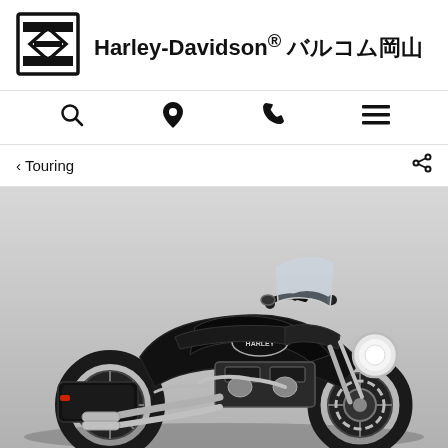Harley-Davidson® バルコム岡山
[Figure (logo): Harley-Davidson bar and shield logo]
‹ Touring
[Figure (photo): Black Harley-Davidson Road King motorcycle on grey background]